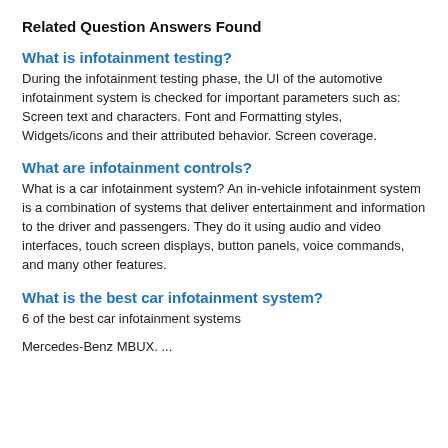Related Question Answers Found
What is infotainment testing?
During the infotainment testing phase, the UI of the automotive infotainment system is checked for important parameters such as: Screen text and characters. Font and Formatting styles, Widgets/icons and their attributed behavior. Screen coverage.
What are infotainment controls?
What is a car infotainment system? An in-vehicle infotainment system is a combination of systems that deliver entertainment and information to the driver and passengers. They do it using audio and video interfaces, touch screen displays, button panels, voice commands, and many other features.
What is the best car infotainment system?
6 of the best car infotainment systems
Mercedes-Benz MBUX. ...